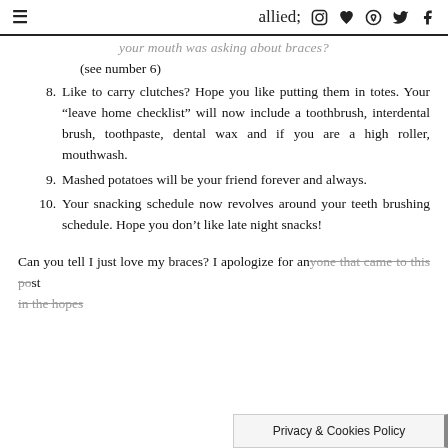≡  (icons: camera, heart, pinterest, twitter, facebook)
your mouth was asking about braces? (see number 6)
8. Like to carry clutches? Hope you like putting them in totes. Your "leave home checklist" will now include a toothbrush, interdental brush, toothpaste, dental wax and if you are a high roller, mouthwash.
9. Mashed potatoes will be your friend forever and always.
10. Your snacking schedule now revolves around your teeth brushing schedule. Hope you don't like late night snacks!
Can you tell I just love my braces? I apologize for anyone that came to this post in the hopes
Privacy & Cookies Policy